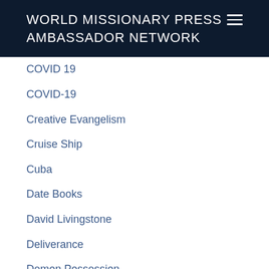WORLD MISSIONARY PRESS AMBASSADOR NETWORK
COVID 19
COVID-19
Creative Evangelism
Cruise Ship
Cuba
Date Books
David Livingstone
Deliverance
Demon Possession
Demons
Denmark
Dental
Depression